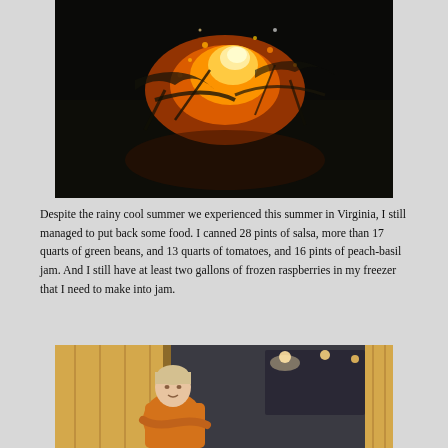[Figure (photo): Nighttime fire scene with burning branches and glowing embers against dark background]
Despite the rainy cool summer we experienced this summer in Virginia, I still managed to put back some food.  I canned 28 pints of salsa, more than 17 quarts of green beans, and 13 quarts of tomatoes, and 16 pints of peach-basil jam.  And I still have at least two gallons of frozen raspberries in my freezer that I need to make into jam.
[Figure (photo): Woman in orange sweater inside a wooden cabin or barn interior with wood paneling and lights]